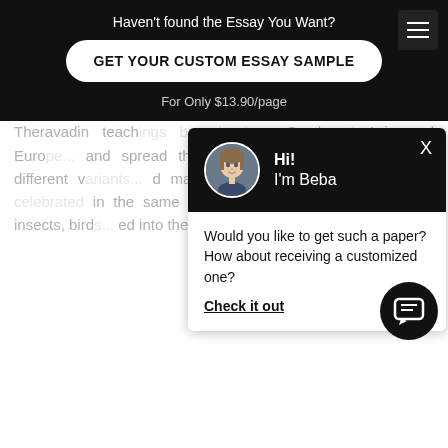today's world, Buddhists in most countries share similar practices on a daily basis. Acts like group and individual meditation, reciting mantras, giving to the poor, yoga, and helping others in ways that confirm compassion are kindness are commonplace in most Buddhist's lives. In the West, Theravadin teachings brought from Southeast Asia and Europe... spread the teachings of... evolved into different variants... many of its rituals and festivals are celebrated in the same way. During th... thousands of insects, birds... released into the wild to show the...
[Figure (screenshot): Chat popup with avatar of a girl, greeting 'Hi! I'm Beba', message asking if user wants a customized paper, with 'Check it out' link]
Haven't found the Essay You Want?
GET YOUR CUSTOM ESSAY SAMPLE
For Only $13.90/page